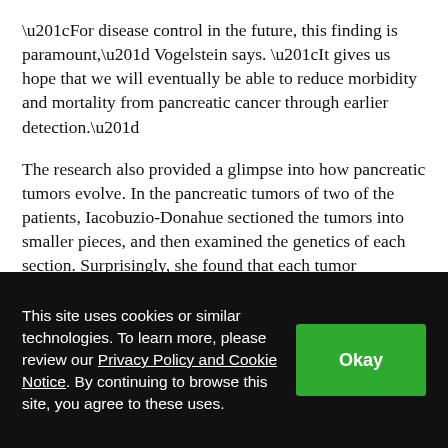“For disease control in the future, this finding is paramount,” Vogelstein says. “It gives us hope that we will eventually be able to reduce morbidity and mortality from pancreatic cancer through earlier detection.”
The research also provided a glimpse into how pancreatic tumors evolve. In the pancreatic tumors of two of the patients, Iacobuzio-Donahue sectioned the tumors into smaller pieces, and then examined the genetics of each section. Surprisingly, she found that each tumor comprised genetically distinct sub-tumors. That is, the tumor continued to accumulate genetic mutations after the tumor first appeared.
This site uses cookies or similar technologies. To learn more, please review our Privacy Policy and Cookie Notice. By continuing to browse this site, you agree to these uses.